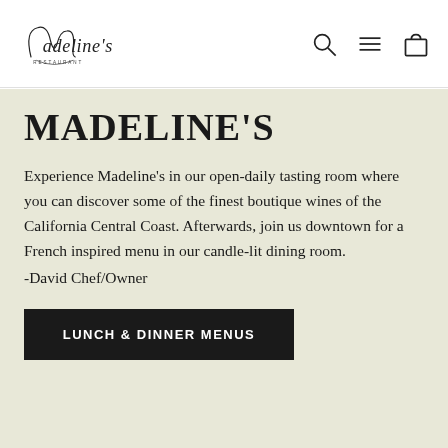Madeline's Restaurant
MADELINE'S
Experience Madeline's in our open-daily tasting room where you can discover some of the finest boutique wines of the California Central Coast. Afterwards, join us downtown for a French inspired menu in our candle-lit dining room.
-David Chef/Owner
LUNCH & DINNER MENUS